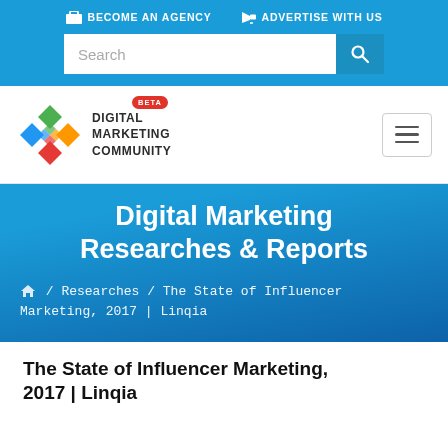BECOME AN AGENCY   ADVERTISE WITH US
[Figure (screenshot): Search bar input field with magnifying glass button]
[Figure (logo): Digital Marketing Community logo with colorful X icon and BETA badge]
Digital Marketing Researches & Reports
Home / Researches / The State of Influencer Marketing, 2017 | Linqia
The State of Influencer Marketing, 2017 | Linqia